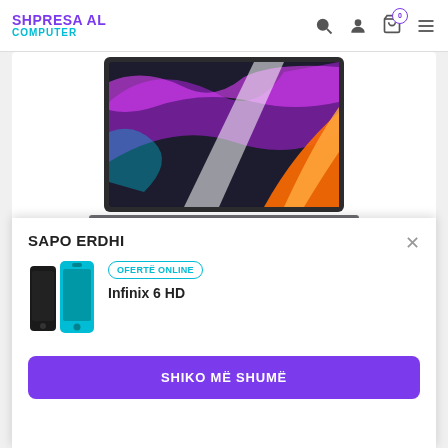SHPRESA AL COMPUTER
[Figure (photo): MacBook Pro laptop open, showing colorful abstract wallpaper on screen and dark keyboard, viewed from slightly above]
SAPO ERDHI
[Figure (photo): Two Infinix 6 HD smartphones side by side, one black and one cyan/blue]
OFERTË ONLINE
Infinix 6 HD
SHIKO MË SHUMË
LARTE